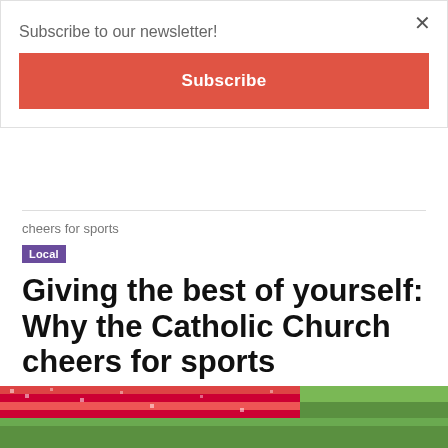Subscribe to our newsletter!
Subscribe
cheers for sports
Local
Giving the best of yourself: Why the Catholic Church cheers for sports
By Mark Haas   July 12, 2018   490   0
[Figure (screenshot): Social share buttons: share, Facebook, Twitter, LinkedIn, Pinterest, email, print]
[Figure (photo): Football stadium crowd with red and white fans on a green pitch, cropped at bottom of page]